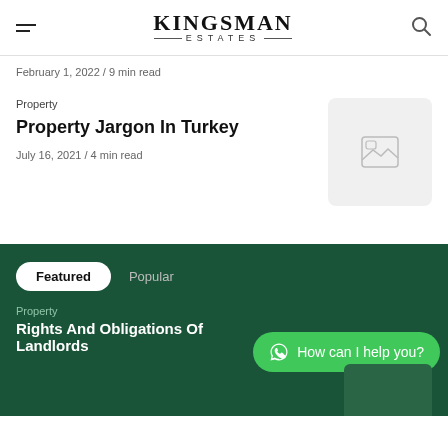KINGSMAN ESTATES
February 1, 2022 / 9 min read
Property
Property Jargon In Turkey
July 16, 2021 / 4 min read
[Figure (photo): Placeholder image thumbnail for article]
Featured  Popular
How can I help you?
Property
Rights And Obligations Of Landlords